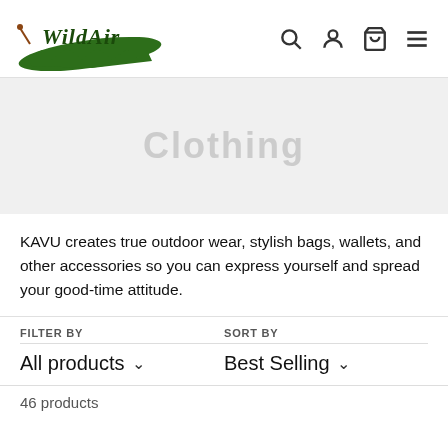WildAir logo and navigation icons: search, account, cart, menu
[Figure (logo): WildAir logo with green leaf and cursive text 'WildAir']
Clothing
KAVU creates true outdoor wear, stylish bags, wallets, and other accessories so you can express yourself and spread your good-time attitude.
FILTER BY
All products ∨
SORT BY
Best Selling ∨
46 products